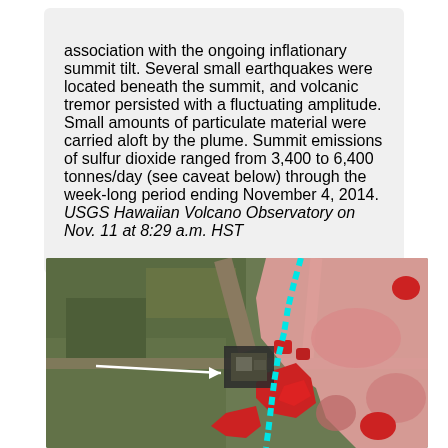association with the ongoing inflationary summit tilt. Several small earthquakes were located beneath the summit, and volcanic tremor persisted with a fluctuating amplitude. Small amounts of particulate material were carried aloft by the plume. Summit emissions of sulfur dioxide ranged from 3,400 to 6,400 tonnes/day (see caveat below) through the week-long period ending November 4, 2014. USGS Hawaiian Volcano Observatory on Nov. 11 at 8:29 a.m. HST
[Figure (map): Aerial/satellite map image showing a lava flow overlay near Pahoa, Hawaii. Pink shading covers the lava flow extent area on the right side. Red shapes indicate active lava or recent flow areas. Cyan/teal dashed line marks a boundary (likely a road or flow front). A white arrow points to a building complex (likely a facility). Dark green vegetation and brown roads visible on aerial background.]